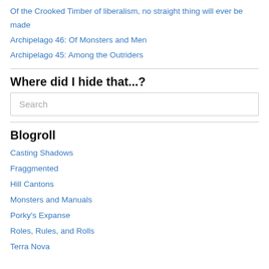Of the Crooked Timber of liberalism, no straight thing will ever be made
Archipelago 46: Of Monsters and Men
Archipelago 45: Among the Outriders
Where did I hide that...?
Search
Blogroll
Casting Shadows
Fraggmented
Hill Cantons
Monsters and Manuals
Porky's Expanse
Roles, Rules, and Rolls
Terra Nova